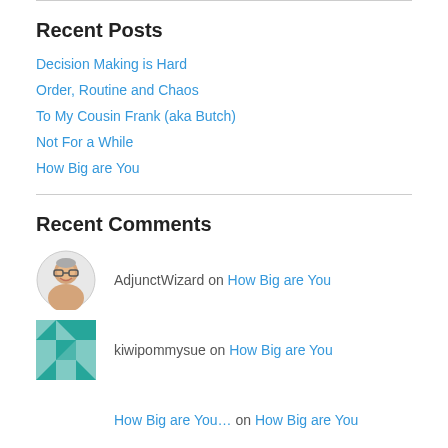Recent Posts
Decision Making is Hard
Order, Routine and Chaos
To My Cousin Frank (aka Butch)
Not For a While
How Big are You
Recent Comments
AdjunctWizard on How Big are You
kiwipommysue on How Big are You
How Big are You… on How Big are You
Karen :) on How Big are You